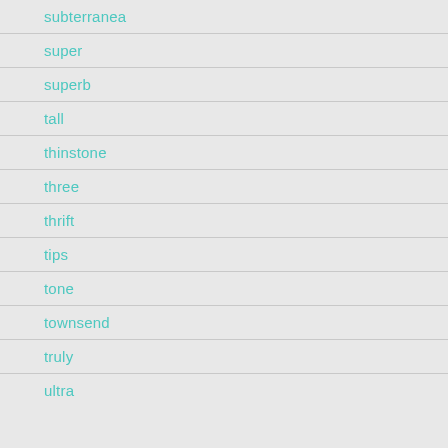subterranea
super
superb
tall
thinstone
three
thrift
tips
tone
townsend
truly
ultra